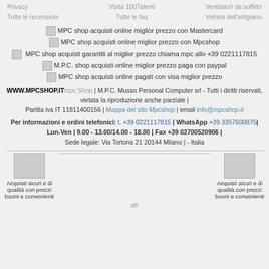Privacy | Visita 100Talenti | Ventilatori da soffitto
Tutte le recensioni | Tutte le faq | Vetrina dell'artigiano
[Figure (other): Payment method icons with alt text: MPC shop acquisti online miglior prezzo con Mastercard, MPC shop acquisti online miglior prezzo con Mpcshop, MPC shop acquisti garantiti al miglior prezzo chiama mpc allo +39 0221117815, M.P.C. shop acquisti online miglior prezzo paga con paypal, MPC shop acquisti online pagati con visa miglior prezzo]
WWW.MPCSHOP.IT mpc Shop | M.P.C. Musso Personal Computer srl - Tutti i diritti riservati, vietata la riproduzione anche parziale | Partita iva IT 11811400156 | Mappa del sito Mpcshop | email info@mpcshop.it
Per informazioni e ordini telefonici: t. +39 0221117815 | WhatsApp +39 3357600875 | Lun-Ven | 9.00 - 13.00/14.00 - 18.00 | Fax +39 02700520906 | Sede legale: Via Tortona 21 20144 Milano | - Italia
[Figure (other): Two trust/badge icons on left and right labeled Acquisti sicuri e di qualità con prezzi buoni e convenienti]
ab